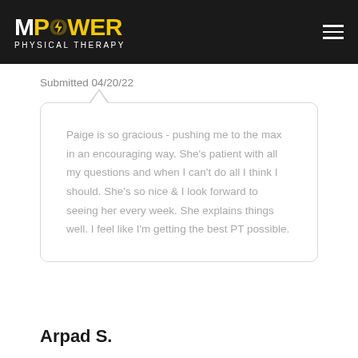[Figure (logo): MPower Physical Therapy logo on black header bar with hamburger menu icon]
Submitted 04/20/22
Paige is so gracious - pushing me to the max in an encouraging way. She’s patient with all my questions and when I can’t do all I think I should. She’s so nice & I look forward to seeing her every week. She explains things well. I feel like I’m getting the best PT possible.
Arpad S.